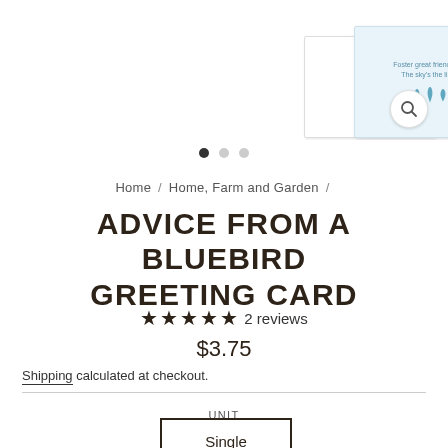[Figure (photo): Product image of Advice from a Bluebird greeting card showing a blue card with leaf illustration and text, with a magnify/zoom button icon in bottom right]
• • •
Home / Home, Farm and Garden /
ADVICE FROM A BLUEBIRD GREETING CARD
★★★★★ 2 reviews
$3.75
Shipping calculated at checkout.
UNIT
Single